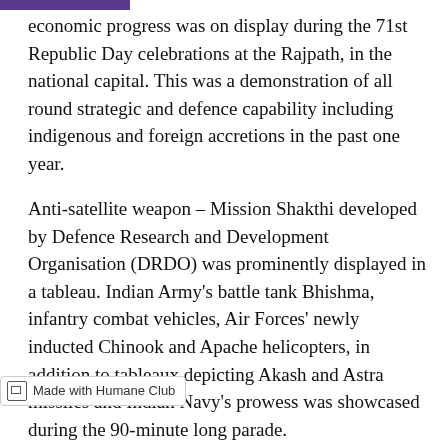economic progress was on display during the 71st Republic Day celebrations at the Rajpath, in the national capital. This was a demonstration of all round strategic and defence capability including indigenous and foreign accretions in the past one year.
Anti-satellite weapon – Mission Shakthi developed by Defence Research and Development Organisation (DRDO) was prominently displayed in a tableau. Indian Army's battle tank Bhishma, infantry combat vehicles, Air Forces' newly inducted Chinook and Apache helicopters, in addition to tableaux depicting Akash and Astra missiles and Indian Navy's prowess was showcased during the 90-minute long parade.
The first contingent in the uniform of the erstwhile Gwalior Lancers was 61 Cavalry led by Captain Deepanshu Sheoran. The 61 Cavalry is the only active serving horse cavalry regiment in the world. It was [Made with Humane Club] 53 with the amalgamation of six state forces' cavalry units.